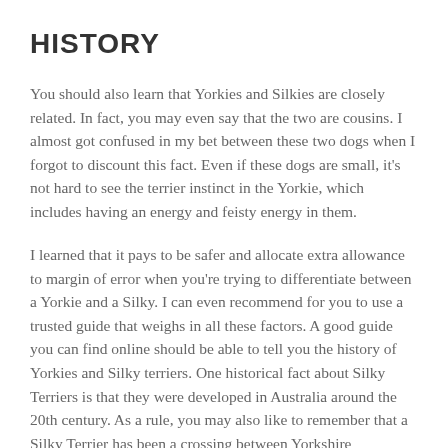HISTORY
You should also learn that Yorkies and Silkies are closely related. In fact, you may even say that the two are cousins. I almost got confused in my bet between these two dogs when I forgot to discount this fact. Even if these dogs are small, it's not hard to see the terrier instinct in the Yorkie, which includes having an energy and feisty energy in them.
I learned that it pays to be safer and allocate extra allowance to margin of error when you're trying to differentiate between a Yorkie and a Silky. I can even recommend for you to use a trusted guide that weighs in all these factors. A good guide you can find online should be able to tell you the history of Yorkies and Silky terriers. One historical fact about Silky Terriers is that they were developed in Australia around the 20th century. As a rule, you may also like to remember that a Silky Terrier has been a crossing between Yorkshire